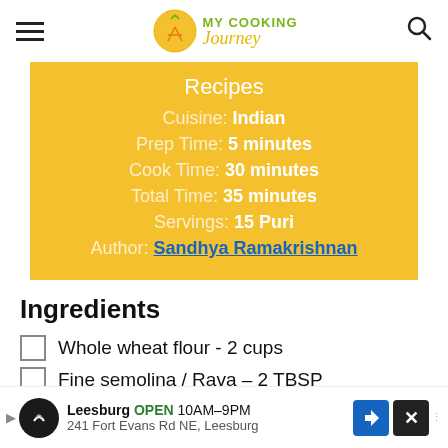MY COOKING Journey
Recipes
Cuisine: Indian
Prep Time: 5 minutes
Cook Time: 30 minutes
Total Time: 35 minutes
Servings: 15 Puri
Author: Sandhya Ramakrishnan
Ingredients
Whole wheat flour - 2 cups
Fine semolina / Rava - 2 TBSP
Leesburg OPEN 10AM–9PM 241 Fort Evans Rd NE, Leesburg